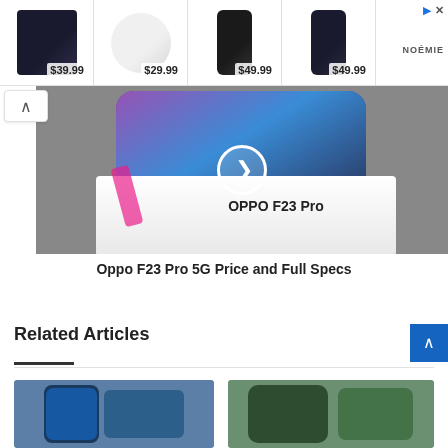[Figure (screenshot): Advertisement strip showing 4 products (bags/accessories) with prices: $39.99, $29.99, $49.99, $49.99, and a NOÉMIE brand label on the right with a close button.]
[Figure (photo): Video thumbnail of OPPO F23 Pro smartphone on a product box with a play button overlay. Caption below reads: Oppo F23 Pro 5G Price and Full Specs]
Oppo F23 Pro 5G Price and Full Specs
Related Articles
[Figure (photo): Two small article thumbnail images side by side at bottom of page, showing smartphones.]